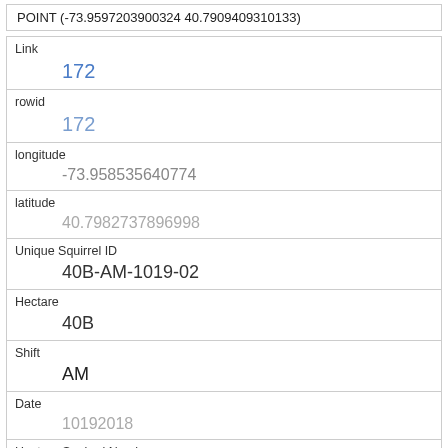POINT (-73.9597203900324 40.7909409310133)
| Field | Value |
| --- | --- |
| Link | 172 |
| rowid | 172 |
| longitude | -73.958535640774 |
| latitude | 40.7982737896998 |
| Unique Squirrel ID | 40B-AM-1019-02 |
| Hectare | 40B |
| Shift | AM |
| Date | 10192018 |
| Hectare Squirrel Number | 2 |
| Age |  |